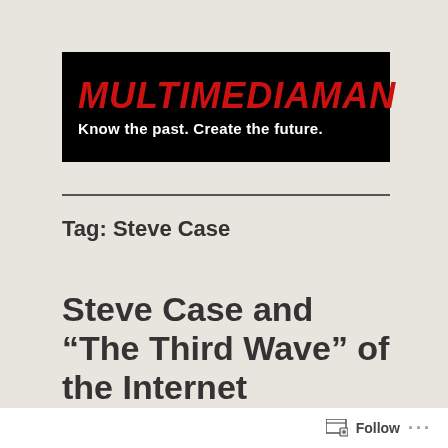[Figure (logo): Multimediaman logo banner: black background with red bold italic 'MULTIMEDIAMAN' text and white tagline 'Know the past. Create the future.']
Tag: Steve Case
Steve Case and “The Third Wave” of the Internet